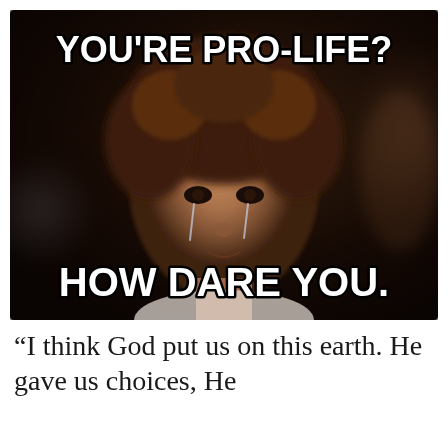[Figure (photo): A meme image showing a woman with curly hair and tears on her face, set against a dark cinematic background. White bold impact-style text at the top reads YOU'RE PRO-LIFE? and at the bottom reads HOW DARE YOU.]
“I think God put us on this earth. He gave us choices, He gave us...